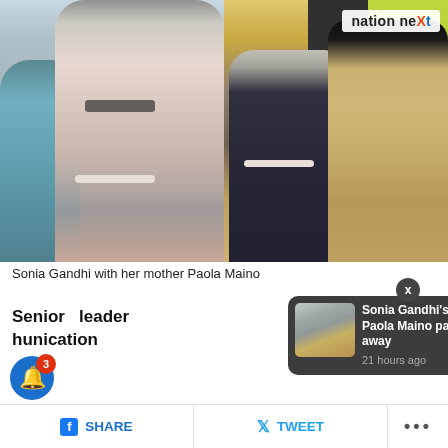[Figure (photo): Two-panel photo collage: left panel shows Sonia Gandhi in conversation with an older woman in pink blazer and sunglasses; right panel shows an elderly white-haired woman seated next to Sonia Gandhi in a patterned outfit. Nation neXt logo in upper right corner.]
Sonia Gandhi with her mother Paola Maino
Senior leader ... unication
[Figure (photo): Notification popup showing thumbnail of same collage photo with text: Sonia Gandhi's mother Paola Maino passes away, 21 hours ago]
SHARE   TWEET   ...